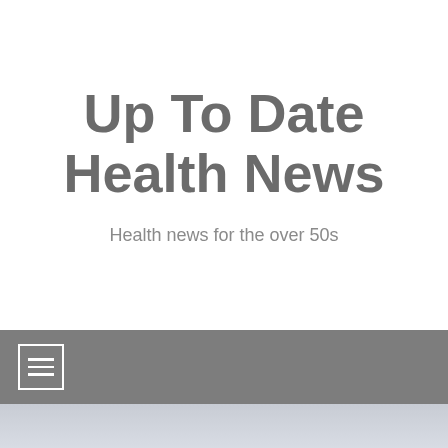Up To Date Health News
Health news for the over 50s
[Figure (other): Navigation bar with hamburger menu icon (three horizontal lines inside a white rectangle outline) on a grey background]